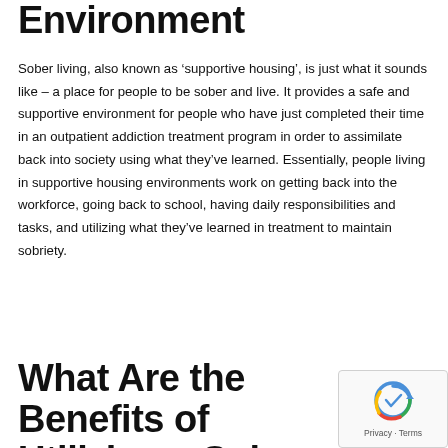Environment
Sober living, also known as ‘supportive housing’, is just what it sounds like – a place for people to be sober and live. It provides a safe and supportive environment for people who have just completed their time in an outpatient addiction treatment program in order to assimilate back into society using what they’ve learned. Essentially, people living in supportive housing environments work on getting back into the workforce, going back to school, having daily responsibilities and tasks, and utilizing what they’ve learned in treatment to maintain sobriety.
What Are the Benefits of Utilizing a Sober Living Environment?